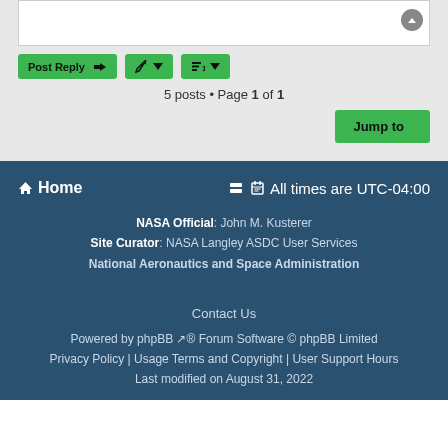5 posts • Page 1 of 1
Home | All times are UTC-04:00 | NASA Official: John M. Kusterer | Site Curator: NASA Langley ASDC User Services | National Aeronautics and Space Administration | Contact Us | Powered by phpBB® Forum Software © phpBB Limited | Privacy Policy | Usage Terms and Copyright | User Support Hours | Last modified on August 31, 2022